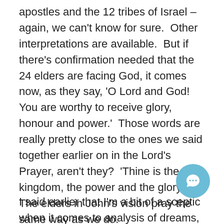apostles and the 12 tribes of Israel – again, we can't know for sure.  Other interpretations are available.  But if there's confirmation needed that the 24 elders are facing God, it comes now, as they say, 'O Lord and God! You are worthy to receive glory, honour and power.'  Those words are really pretty close to the ones we said together earlier on in the Lord's Prayer, aren't they?  'Thine is the kingdom, the power and the glory.'  The elders in John's vision pray the same way as we do.
I said earlier that I'm a bit of a sceptic when it comes to analysis of dreams, of visions.  Well, maybe I've spent the 15 minutes or so proving that I am to dream analysis what politicians are to